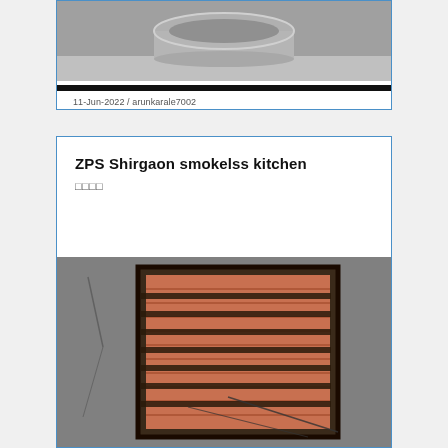[Figure (photo): Photo of a metal pot/bowl on a surface, top portion visible above a thick black divider bar]
11-Jun-2022 / arunkarale7002
ZPS Shirgaon smokelss kitchen
□□□□
[Figure (photo): Photo of a barred window on a brick/concrete wall, showing a grated window with horizontal bars against brick background]